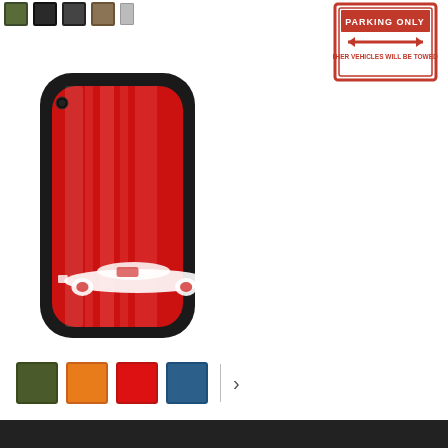[Figure (screenshot): Top row of small color swatches (thumbnail selectors): olive/dark green, dark gray/black, dark gray, brownish/tan, partially visible]
[Figure (photo): Warning Only - All Other Vehicles Will Be Towed Away road sign (red and white)]
[Figure (photo): iPhone XR phone case with red background and racing stripes, featuring a classic convertible car silhouette, black bumper case]
[Figure (screenshot): Bottom color swatch selector row: olive green, orange, red, blue; divider bar; right arrow navigation button]